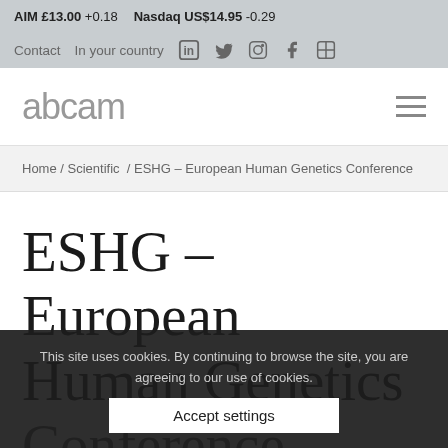AIM £13.00 +0.18   Nasdaq US$14.95 -0.29
Contact   In your country
[Figure (logo): Abcam logo in grey sans-serif lowercase text]
Home / Scientific / ESHG – European Human Genetics Conference
ESHG – European Human Genetics Conference
This site uses cookies. By continuing to browse the site, you are agreeing to our use of cookies.
Accept settings
3 September 2021